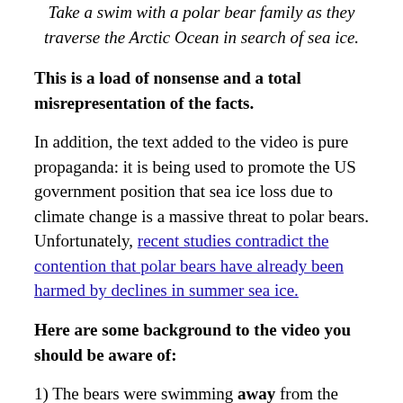Take a swim with a polar bear family as they traverse the Arctic Ocean in search of sea ice.
This is a load of nonsense and a total misrepresentation of the facts.
In addition, the text added to the video is pure propaganda: it is being used to promote the US government position that sea ice loss due to climate change is a massive threat to polar bears. Unfortunately, recent studies contradict the contention that polar bears have already been harmed by declines in summer sea ice.
Here are some background to the video you should be aware of:
1) The bears were swimming away from the USGS researchers and film crew who had shot them full of